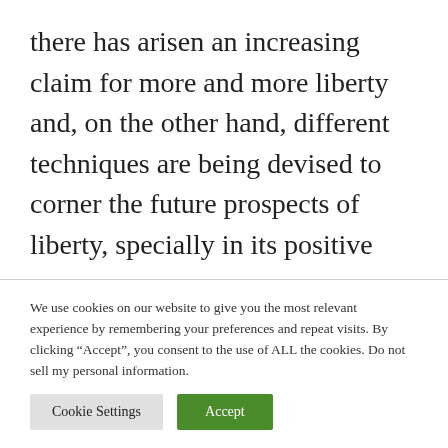there has arisen an increasing claim for more and more liberty and, on the other hand, different techniques are being devised to corner the future prospects of liberty, specially in its positive sense.

The dominant class and elite groups are active and in various ways— they have established
We use cookies on our website to give you the most relevant experience by remembering your preferences and repeat visits. By clicking “Accept”, you consent to the use of ALL the cookies. Do not sell my personal information.